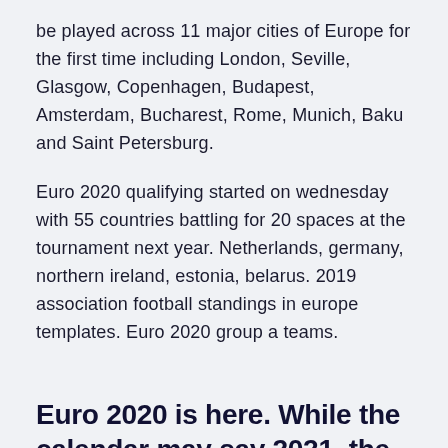be played across 11 major cities of Europe for the first time including London, Seville, Glasgow, Copenhagen, Budapest, Amsterdam, Bucharest, Rome, Munich, Baku and Saint Petersburg.
Euro 2020 qualifying started on wednesday with 55 countries battling for 20 spaces at the tournament next year. Netherlands, germany, northern ireland, estonia, belarus. 2019 association football standings in europe templates. Euro 2020 group a teams.
Euro 2020 is here. While the calendar may say 2021, the 2020 edition of the tournament starts on June 11 all across Europe. Delayed